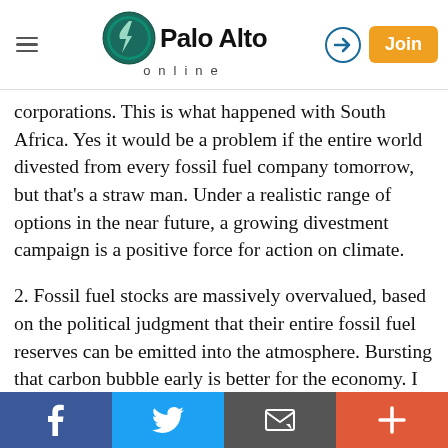Palo Alto online
corporations. This is what happened with South Africa. Yes it would be a problem if the entire world divested from every fossil fuel company tomorrow, but that's a straw man. Under a realistic range of options in the near future, a growing divestment campaign is a positive force for action on climate.
2. Fossil fuel stocks are massively overvalued, based on the political judgment that their entire fossil fuel reserves can be emitted into the atmosphere. Bursting that carbon bubble early is better for the economy. I suppose some investors may otherwise have sold before stronger regulation knocked down valuations, but keeping a bubble inflated only makes things worse. Regulatory threats are now acknowledged by fossil fuel firms, and more divestment can help tamp down the bubble.
Social share bar: Facebook, Twitter, Email, More